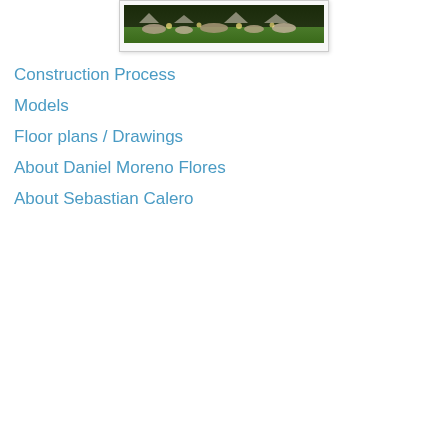[Figure (photo): Photograph of an outdoor space with grass and stone/rock elements lit at night, displayed in a bordered frame at the top of the page.]
Construction Process
Models
Floor plans / Drawings
About Daniel Moreno Flores
About Sebastian Calero